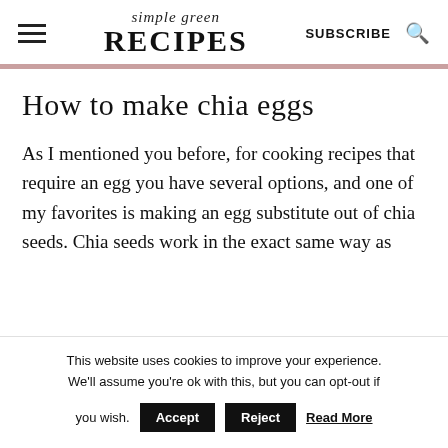simple green RECIPES | SUBSCRIBE
How to make chia eggs
As I mentioned you before, for cooking recipes that require an egg you have several options, and one of my favorites is making an egg substitute out of chia seeds. Chia seeds work in the exact same way as
This website uses cookies to improve your experience. We'll assume you're ok with this, but you can opt-out if you wish. Accept  Reject  Read More